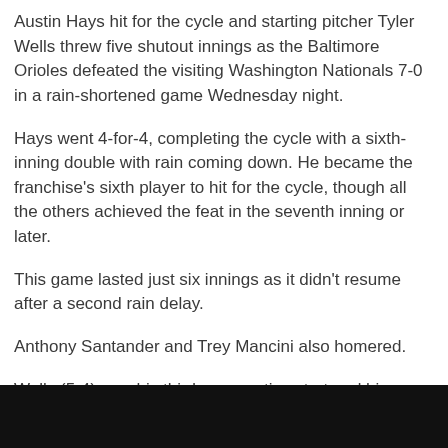Austin Hays hit for the cycle and starting pitcher Tyler Wells threw five shutout innings as the Baltimore Orioles defeated the visiting Washington Nationals 7-0 in a rain-shortened game Wednesday night.
Hays went 4-for-4, completing the cycle with a sixth-inning double with rain coming down. He became the franchise's sixth player to hit for the cycle, though all the others achieved the feat in the seventh inning or later.
This game lasted just six innings as it didn't resume after a second rain delay.
Anthony Santander and Trey Mancini also homered.
Wells (5-4) won his third consecutive start and his fourth straight decision. It was his 14th start of the season and just the third time